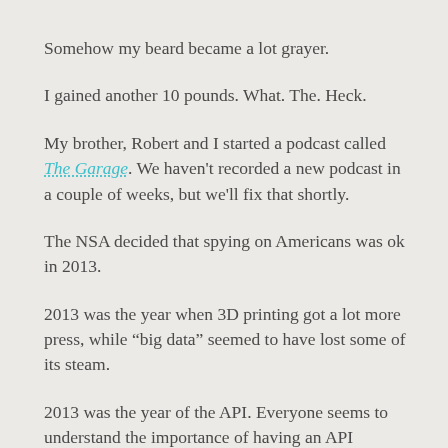Somehow my beard became a lot grayer.
I gained another 10 pounds. What. The. Heck.
My brother, Robert and I started a podcast called The Garage. We haven't recorded a new podcast in a couple of weeks, but we'll fix that shortly.
The NSA decided that spying on Americans was ok in 2013.
2013 was the year when 3D printing got a lot more press, while “big data” seemed to have lost some of its steam.
2013 was the year of the API. Everyone seems to understand the importance of having an API available for their platform. That is, everyone with the